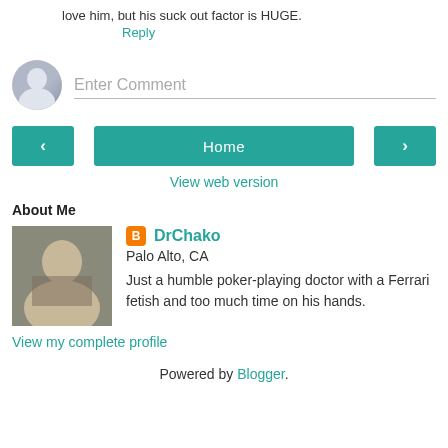love him, but his suck out factor is HUGE.
Reply
Enter Comment
< Home >
View web version
About Me
[Figure (photo): Blogger profile icon (orange square with B)]
DrChako
Palo Alto, CA
Just a humble poker-playing doctor with a Ferrari fetish and too much time on his hands.
View my complete profile
Powered by Blogger.